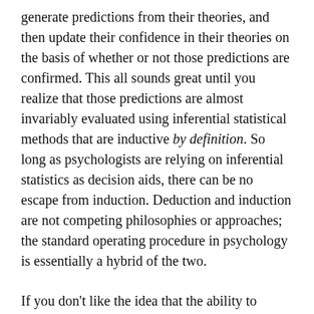generate predictions from their theories, and then update their confidence in their theories on the basis of whether or not those predictions are confirmed. This all sounds great until you realize that those predictions are almost invariably evaluated using inferential statistical methods that are inductive by definition. So long as psychologists are relying on inferential statistics as decision aids, there can be no escape from induction. Deduction and induction are not competing philosophies or approaches; the standard operating procedure in psychology is essentially a hybrid of the two.
If you don't like the idea that the ability to appraise a verbal hypothesis using statistics depends critically on the ability to understand and articulate how the statistical terms map onto the verbal ideas, that's fine; an easy way to solve that problem is to just not use inferential statistics. That's a perfectly